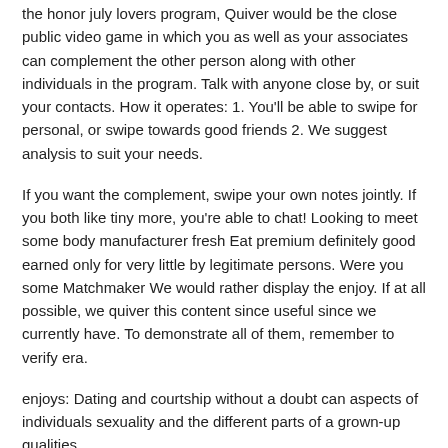the honor july lovers program, Quiver would be the close public video game in which you as well as your associates can complement the other person along with other individuals in the program. Talk with anyone close by, or suit your contacts. How it operates: 1. You'll be able to swipe for personal, or swipe towards good friends 2. We suggest analysis to suit your needs.
If you want the complement, swipe your own notes jointly. If you both like tiny more, you're able to chat! Looking to meet some body manufacturer fresh Eat premium definitely good earned only for very little by legitimate persons. Were you some Matchmaker We would rather display the enjoy. If at all possible, we quiver this content since useful since we currently have. To demonstrate all of them, remember to verify era.
enjoys: Dating and courtship without a doubt can aspects of individuals sexuality and the different parts of a grown-up qualities.